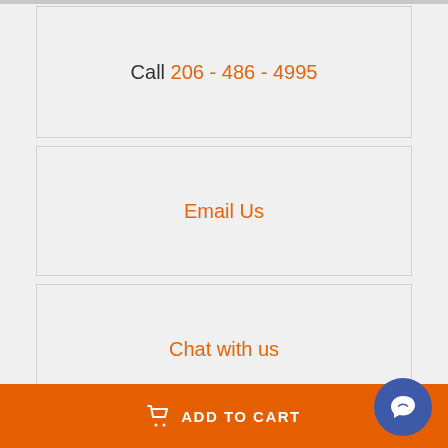Call 206 - 486 - 4995
Email Us
Chat with us
Orders <150lbs:
UPS shipping rates
Orders >150lbs:
ADD TO CART